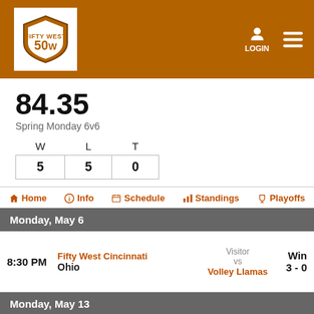[Figure (logo): Fifty West 50W shield logo on brown/orange header bar with LOGIN and hamburger menu]
84.35
Spring Monday 6v6
| W | L | T |
| --- | --- | --- |
| 5 | 5 | 0 |
Home   Info   Schedule   Standings   Playoffs
Monday, May 6
8:30 PM   Fifty West Cincinnati Ohio   Visitor vs Volley Llamas   Win 3 - 0
Monday, May 13
9:30 PM   Fifty West Cincinnati West Virginia   Visitor vs Margarita Monday   Loss 0 - 3
Monday, May 20